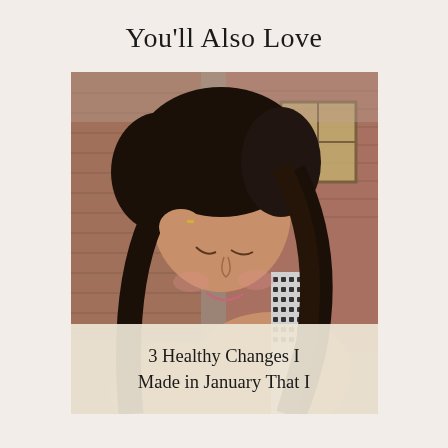You'll Also Love
[Figure (photo): A young woman with long dark hair smiling downward, touching her hair with one hand, wearing a patterned racerback top, photographed outdoors against a brick building background.]
3 Healthy Changes I Made in January That I